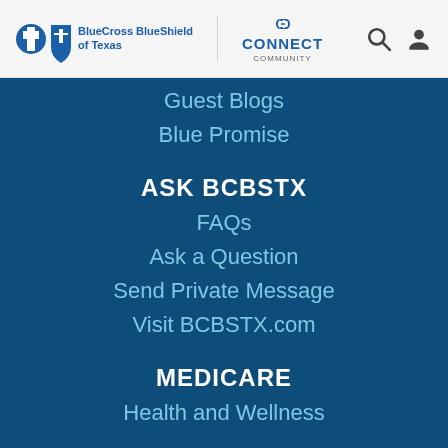[Figure (logo): BlueCross BlueShield of Texas logo with Connect Community logo and search/user icons in header]
Guest Blogs
Blue Promise
ASK BCBSTX
FAQs
Ask a Question
Send Private Message
Visit BCBSTX.com
MEDICARE
Health and Wellness